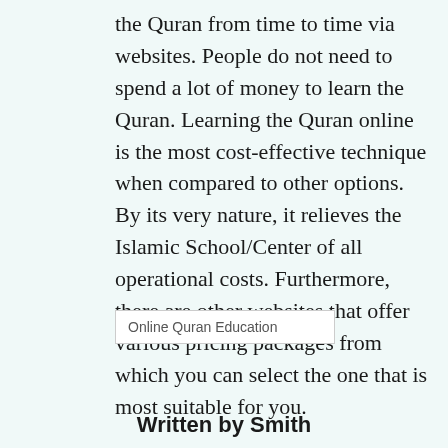the Quran from time to time via websites. People do not need to spend a lot of money to learn the Quran. Learning the Quran online is the most cost-effective technique when compared to other options. By its very nature, it relieves the Islamic School/Center of all operational costs. Furthermore, there are other websites that offer various pricing packages from which you can select the one that is most suitable for you.
Online Quran Education
Written by Smith